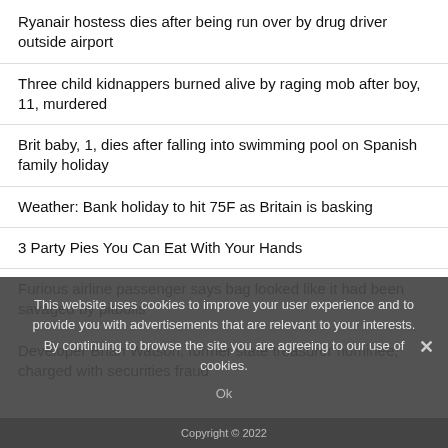Ryanair hostess dies after being run over by drug driver outside airport
Three child kidnappers burned alive by raging mob after boy, 11, murdered
Brit baby, 1, dies after falling into swimming pool on Spanish family holiday
Weather: Bank holiday to hit 75F as Britain is basking
3 Party Pies You Can Eat With Your Hands
Furious airline passenger says bag looked like it had been savaged by pitbulls
Developer Brian Watson, former state treasurer nominee, charged with securities fraud
This website uses cookies to improve your user experience and to provide you with advertisements that are relevant to your interests. By continuing to browse the site you are agreeing to our use of cookies.
Ok
Copyright © 2022